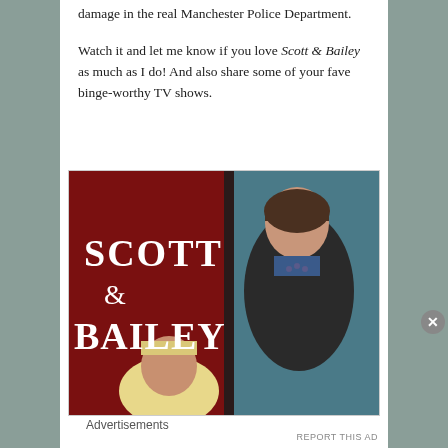damage in the real Manchester Police Department.
Watch it and let me know if you love Scott & Bailey as much as I do! And also share some of your fave binge-worthy TV shows.
[Figure (photo): Promotional image for the TV show 'Scott & Bailey' showing two women, one with short dark hair in a dark jacket and one with blonde hair, against a red and teal background with the show title text 'SCOTT & BAILEY' in white letters.]
Advertisements